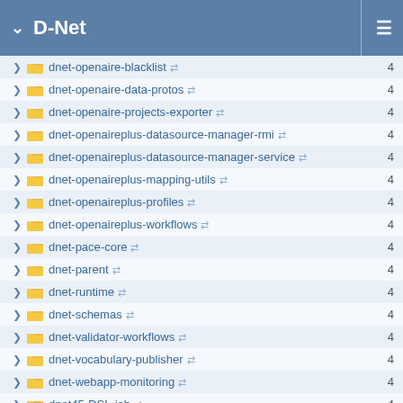D-Net
dnet-openaire-blacklist  4
dnet-openaire-data-protos  4
dnet-openaire-projects-exporter  4
dnet-openaireplus-datasource-manager-rmi  4
dnet-openaireplus-datasource-manager-service  4
dnet-openaireplus-mapping-utils  4
dnet-openaireplus-profiles  4
dnet-openaireplus-workflows  4
dnet-pace-core  4
dnet-parent  4
dnet-runtime  4
dnet-schemas  4
dnet-validator-workflows  4
dnet-vocabulary-publisher  4
dnet-webapp-monitoring  4
dnet45-DSL-job  4
unibi-data-collective-transformation-common  4
Latest revisions